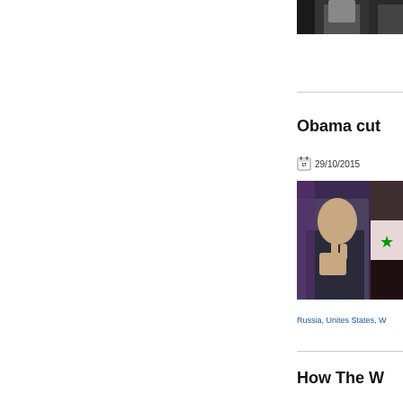[Figure (photo): Top photo partially visible - person in dark suit at podium]
Obama cut
29/10/2015
[Figure (photo): Photo of Assad with Syrian flag in background, gesturing with hand]
Russia, Unites States, W
How The W